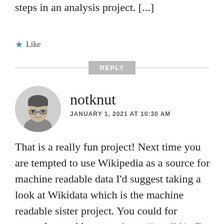steps in an analysis project. [...]
★ Like
REPLY
[Figure (photo): Circular avatar photo of a person with glasses smiling, in grayscale]
notknut
JANUARY 1, 2021 AT 10:30 AM
That is a really fun project! Next time you are tempted to use Wikipedia as a source for machine readable data I'd suggest taking a look at Wikidata which is the machine readable sister project. You could for example use this query: https://w.wiki/soF to get everything that the